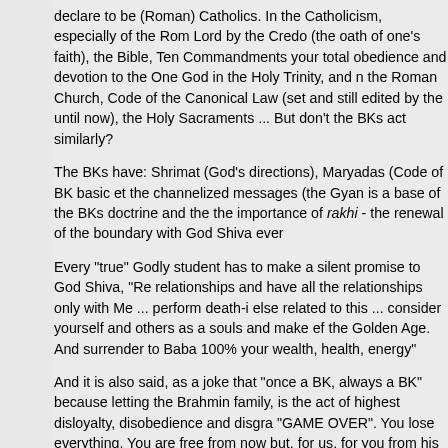declare to be (Roman) Catholics. In the Catholicism, especially of the Roman Lord by the Credo (the oath of one's faith), the Bible, Ten Commandments, your total obedience and devotion to the One God in the Holy Trinity, and the Roman Church, Code of the Canonical Law (set and still edited by the until now), the Holy Sacraments ... But don't the BKs act similarly?
The BKs have: Shrimat (God's directions), Maryadas (Code of BK basic et the channelized messages (the Gyan is a base of the BKs doctrine and the the importance of rakhi - the renewal of the boundary with God Shiva ever
Every "true" Godly student has to make a silent promise to God Shiva, "Re relationships and have all the relationships only with Me ... perform death-i else related to this ... consider yourself and others as a souls and make ef the Golden Age. And surrender to Baba 100% your wealth, health, energy
And it is also said, as a joke that "once a BK, always a BK" because letting the Brahmin family, is the act of highest disloyalty, disobedience and disgra "GAME OVER". You lose everything. You are free from now but, for us, for you from his list.
But let me ask you just two questions:
Did you ever know about all of those consequences of your being BK?
Have you ever been warned by any of the BK who introduced